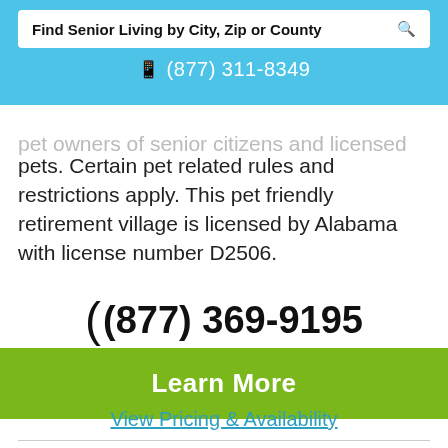Find Senior Living by City, Zip or County
📱 (877) 311-8349
pets. Certain pet related rules and restrictions apply. This pet friendly retirement village is licensed by Alabama with license number D2506.
(877) 369-9195
Learn More
View Pricing & Availability